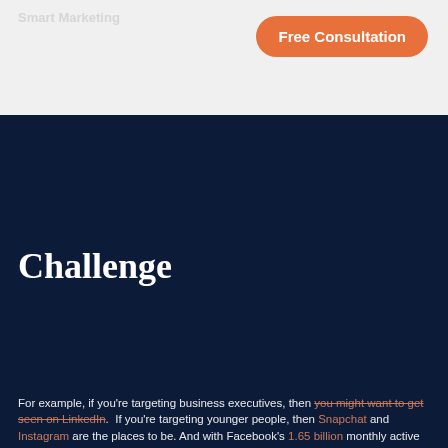Free Consultation
Challenge
For example, if you're targeting business executives, then you might want to get seen on LinkedIn.  If you're targeting younger people, then Snapchat and Instagram are the places to be. And with Facebook's 1.65 billion monthly active users who are spending on average 50 minutes each day on the site, virtually every business can see ROI through Facebook ads.
There are new marketing tactics popping up every day. It can be tough for busy entrepreneurs to stay on top of the latest trends, figure out the best ways to use different platforms, and become a master in every area of digital marketing overnight.
That's where hiring an agency can help your business.
Hiring a team of experts to manage the more technical aspects of your marketing strategy allows you to focus on other areas of